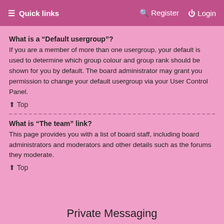≡ Quick links    Register  Login
What is a “Default usergroup”?
If you are a member of more than one usergroup, your default is used to determine which group colour and group rank should be shown for you by default. The board administrator may grant you permission to change your default usergroup via your User Control Panel.
↑ Top
What is “The team” link?
This page provides you with a list of board staff, including board administrators and moderators and other details such as the forums they moderate.
↑ Top
Private Messaging